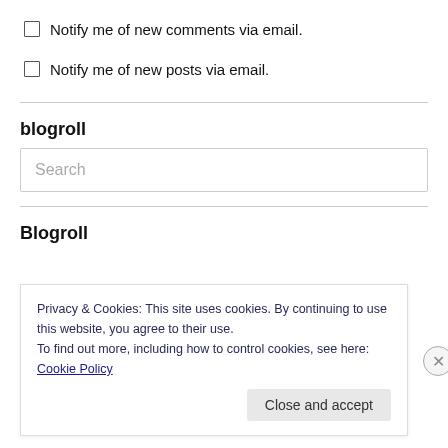Notify me of new comments via email.
Notify me of new posts via email.
blogroll
Search
Blogroll
Privacy & Cookies: This site uses cookies. By continuing to use this website, you agree to their use.
To find out more, including how to control cookies, see here: Cookie Policy
Close and accept